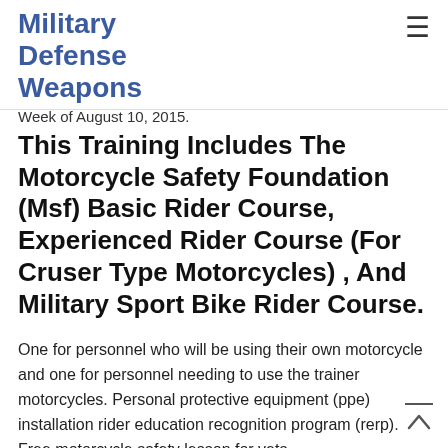Military Defense Weapons
Week of August 10, 2015.
This Training Includes The Motorcycle Safety Foundation (Msf) Basic Rider Course, Experienced Rider Course (For Cruser Type Motorcycles) , And Military Sport Bike Rider Course.
One for personnel who will be using their own motorcycle and one for personnel needing to use the trainer motorcycles. Personal protective equipment (ppe) installation rider education recognition program (rerp). Free motorcycle safety lesson for vets.
The Installation Provides